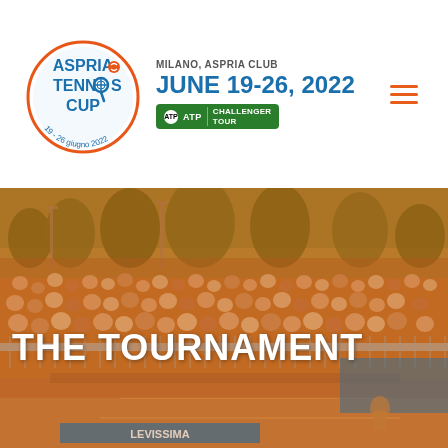[Figure (logo): Aspria Tennis Cup logo — circular design with orange arc, blue tennis racket/ball motif, text 'ASPRIA TENNIS CUP' and '19-26 giugno 2022']
MILANO, ASPRIA CLUB
JUNE 19-26, 2022
[Figure (logo): ATP Challenger Tour badge — green rounded rectangle with ATP circle logo and CHALLENGER TOUR text]
[Figure (photo): Outdoor tennis tournament at Aspria Club Milan — large crowd watching match from stands, clay court visible at bottom, trees in background, warm golden/orange lighting, Levissima sponsor banner visible]
THE TOURNAMENT